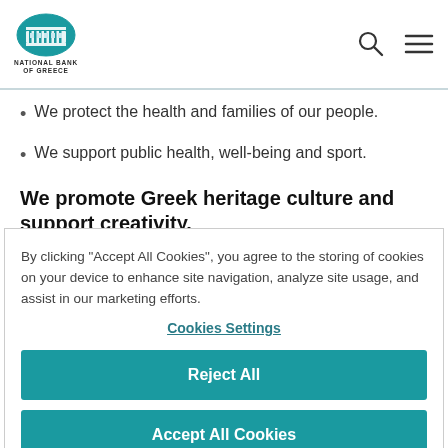NATIONAL BANK OF GREECE
We protect the health and families of our people.
We support public health, well-being and sport.
We promote Greek heritage culture and support creativity.
By clicking "Accept All Cookies", you agree to the storing of cookies on your device to enhance site navigation, analyze site usage, and assist in our marketing efforts.
Cookies Settings
Reject All
Accept All Cookies